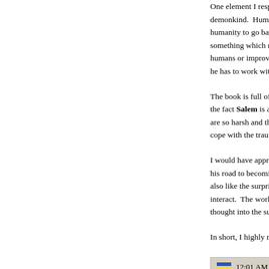One element I respect ab... demonkind. Humanity an... humanity to go back to t... something which must sim... humans or improve things... he has to work with the sys...
The book is full of action,... the fact Salem is a lot dee... are so harsh and the peop... cope with the trauma.
I would have appreciated s... his road to becoming a her... also like the surprising ad... interact. The world-buildin... thought into the subject.
In short, I highly recomme...
12:01 AM | Posted by T...
1 comments
Saturday, November 12, 20...
SPFBO 2016 Fi...